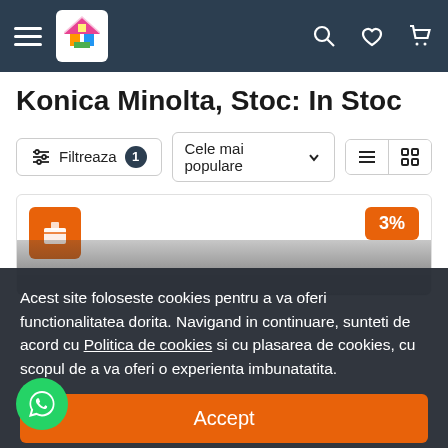Navigation bar with hamburger menu, colorful house logo, search, wishlist, and cart icons
Konica Minolta, Stoc: In Stoc
Filtreaza 1 | Cele mai populare | view toggle
[Figure (screenshot): Product listing card with orange box icon and 3% discount badge]
Acest site foloseste cookies pentru a va oferi functionalitatea dorita. Navigand in continuare, sunteti de acord cu Politica de cookies si cu plasarea de cookies, cu scopul de a va oferi o experienta imbunatatita.
Accept
Preferinte cookie-uri